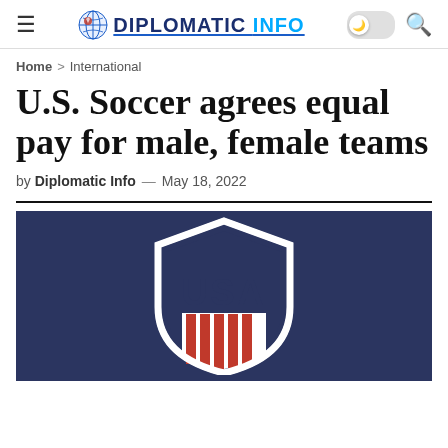DIPLOMATIC INFO
Home > International
U.S. Soccer agrees equal pay for male, female teams
by Diplomatic Info — May 18, 2022
[Figure (logo): U.S. Soccer crest logo — shield shape with navy blue background, white border, 'USA' text in navy at top, and red and white vertical stripes at bottom, on a dark navy blue background.]